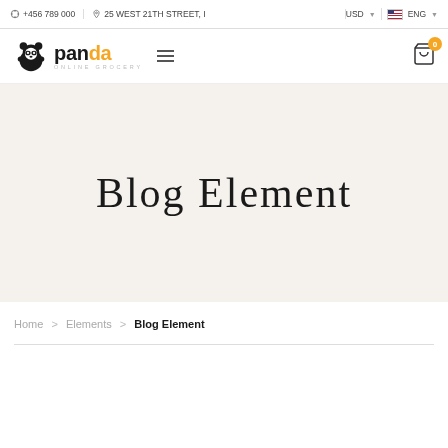+456 789 000  |  25 WEST 21TH STREET, I  USD  ENG
[Figure (logo): Panda Online Grocery logo with panda icon and orange/black text]
Blog Element
Home > Elements > Blog Element